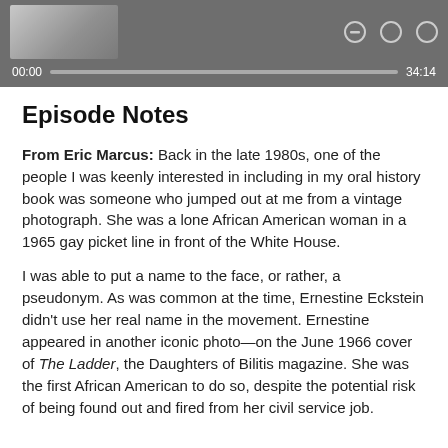[Figure (screenshot): Media player UI showing a thumbnail image on the left, three control buttons (minus, circle, circle), a progress bar, timestamp 00:00 on the left and 34:14 on the right, on a dark gray background.]
Episode Notes
From Eric Marcus: Back in the late 1980s, one of the people I was keenly interested in including in my oral history book was someone who jumped out at me from a vintage photograph. She was a lone African American woman in a 1965 gay picket line in front of the White House.
I was able to put a name to the face, or rather, a pseudonym. As was common at the time, Ernestine Eckstein didn't use her real name in the movement. Ernestine appeared in another iconic photo—on the June 1966 cover of The Ladder, the Daughters of Bilitis magazine. She was the first African American to do so, despite the potential risk of being found out and fired from her civil service job.